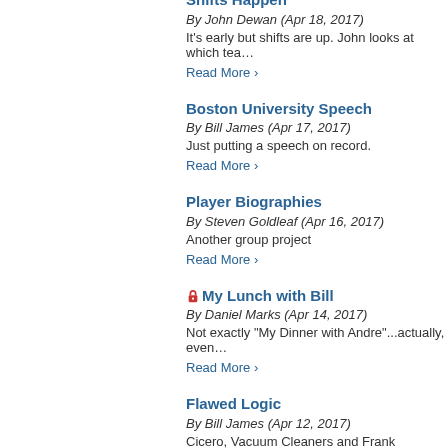Shifts Happen
By John Dewan (Apr 18, 2017)
It's early but shifts are up. John looks at which tea…
Read More ›
Boston University Speech
By Bill James (Apr 17, 2017)
Just putting a speech on record.
Read More ›
Player Biographies
By Steven Goldleaf (Apr 16, 2017)
Another group project
Read More ›
🔒 My Lunch with Bill
By Daniel Marks (Apr 14, 2017)
Not exactly "My Dinner with Andre"...actually, even…
Read More ›
Flawed Logic
By Bill James (Apr 12, 2017)
Cicero, Vacuum Cleaners and Frank Sullivan.
Read More ›